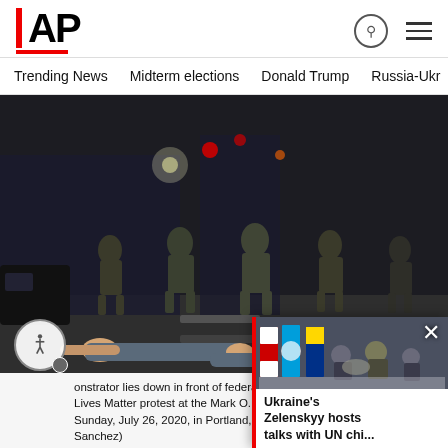[Figure (logo): AP (Associated Press) logo in bold black text with red left border and red underline]
Trending News   Midterm elections   Donald Trump   Russia-Ukr
[Figure (photo): Night protest scene showing armed federal officers in tactical gear standing in a street, with a demonstrator lying face down on the ground in front of them. Black Lives Matter protest at the Mark O. Hatfield courthouse, Sunday, July 26, 2020, in Portland, Ore.]
onstrator lies down in front of federal Lives Matter protest at the Mark O. Hatfield Sunday, July 26, 2020, in Portland, Ore. (A Sanchez)
[Figure (photo): Ukraine's Zelenskyy hosts talks with UN chi... — photo showing officials with flags (Turkey, UN, Ukraine) in background]
Ukraine's Zelenskyy hosts talks with UN chi...